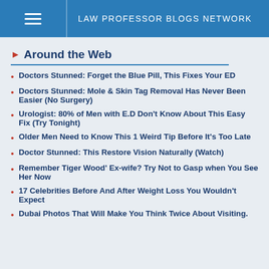LAW PROFESSOR BLOGS NETWORK
Around the Web
Doctors Stunned: Forget the Blue Pill, This Fixes Your ED
Doctors Stunned: Mole & Skin Tag Removal Has Never Been Easier (No Surgery)
Urologist: 80% of Men with E.D Don't Know About This Easy Fix (Try Tonight)
Older Men Need to Know This 1 Weird Tip Before It's Too Late
Doctor Stunned: This Restore Vision Naturally (Watch)
Remember Tiger Wood' Ex-wife? Try Not to Gasp when You See Her Now
17 Celebrities Before And After Weight Loss You Wouldn't Expect
Dubai Photos That Will Make You Think Twice About Visiting.